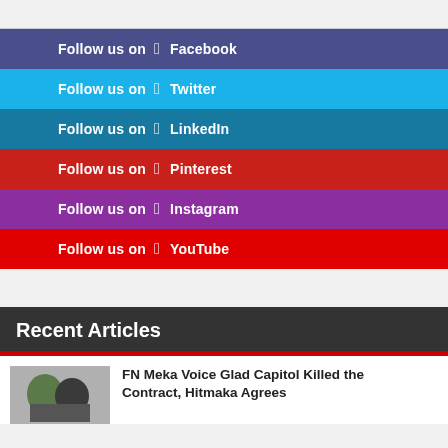Follow us on Facebook
Follow us on Twitter
Follow us on LinkedIn
Follow us on Pinterest
Follow us on Instagram
Follow us on YouTube
Recent Articles
FN Meka Voice Glad Capitol Killed the Contract, Hitmaka Agrees